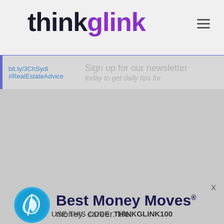thinkglink
bit.ly/3ChSydi #RealEstateAdvice Sign up for our newsletter today to get daily tips for
[Figure (logo): Best Money Moves logo with circular blue leaf icon. Text: Best Money Moves® money. career. life.]
Free now and forever!
Financial wellness made easy!
Click here for access to short term loans, student loan debt solutions, medical debt financing, credit building tools, retirement readiness planning, ID theft protection, insurance options, life journeys, calculators, videos, deep resources and more!
USE THIS CODE: THINKGLINK100